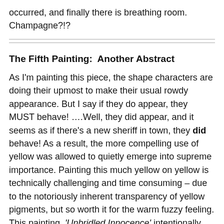occurred, and finally there is breathing room. Champagne?!?
The Fifth Painting:  Another Abstract
As I'm painting this piece, the shape characters are doing their upmost to make their usual rowdy appearance. But I say if they do appear, they MUST behave! ….Well, they did appear, and it seems as if there's a new sheriff in town, they did behave! As a result, the more compelling use of yellow was allowed to quietly emerge into supreme importance. Painting this much yellow on yellow is technically challenging and time consuming – due to the notoriously inherent transparency of yellow pigments, but so worth it for the warm fuzzy feeling. This painting, 'Unbridled Innocence' intentionally lacks my usual high level of contrasting value and color for the sake of greater visual harmony. The lack of contrast points toward a softer feeling of freedom, total innocence,